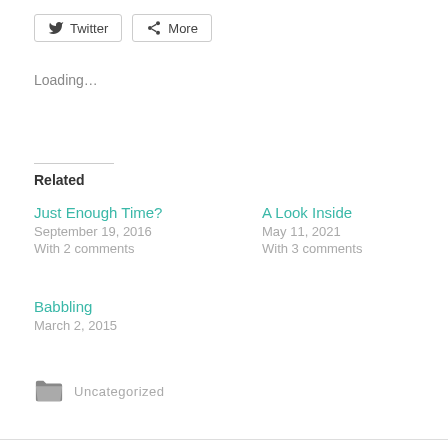Twitter  More
Loading...
Related
Just Enough Time?
September 19, 2016
With 2 comments
A Look Inside
May 11, 2021
With 3 comments
Babbling
March 2, 2015
Uncategorized